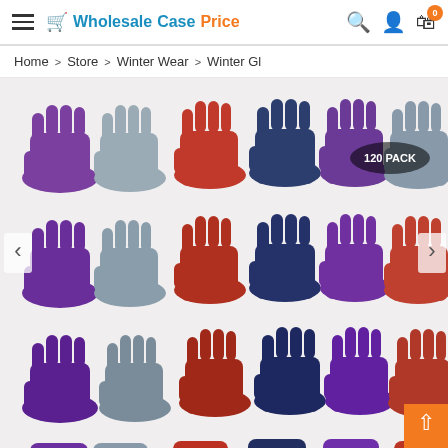WholesaleCasePrice — header with hamburger menu, search, user, and cart icons (0 items)
Home > Store > Winter Wear > Winter Gl
[Figure (photo): Product image showing multiple rows of colorful knit winter gloves in purple, gray, navy, and red/orange colors. A '120 PACK' label is visible in the upper right area of the image. Navigation arrows on left and right sides.]